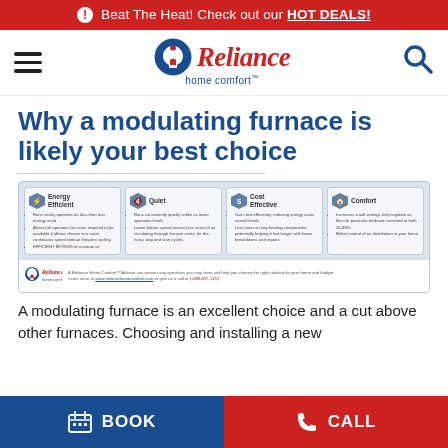Beat The Heat! Check out our HOT DEALS!
[Figure (logo): Reliance home comfort logo with hamburger menu and search icon]
Why a modulating furnace is likely your best choice
[Figure (infographic): Infographic showing four benefits of modulating furnace: Energy Efficient, Quiet, Cost Effective, Comfort. Footer shows Reliance logo and website www.reliancehomecomfort.com and phone 1-888-837-1451]
A modulating furnace is an excellent choice and a cut above other furnaces. Choosing and installing a new
BOOK   CALL